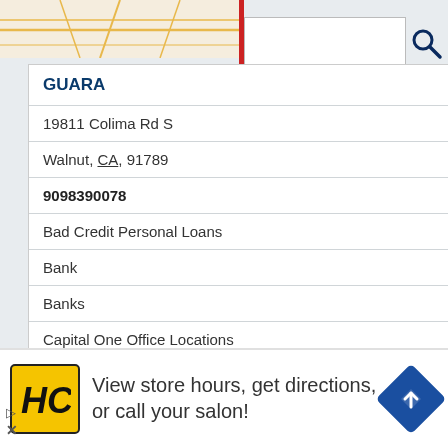[Figure (screenshot): Screenshot of a map/directory web application showing a search dropdown, map thumbnail, business listing for GUNG RESTAURANT & CAFE, and an advertisement for HC salon]
GUARA
19811 Colima Rd S
Walnut, CA, 91789
9098390078
Bad Credit Personal Loans
Bank
Banks
Capital One Office Locations
Car Title Loans
GUNG RESTAURANT & CAFE
Colima Rd
View store hours, get directions, or call your salon!